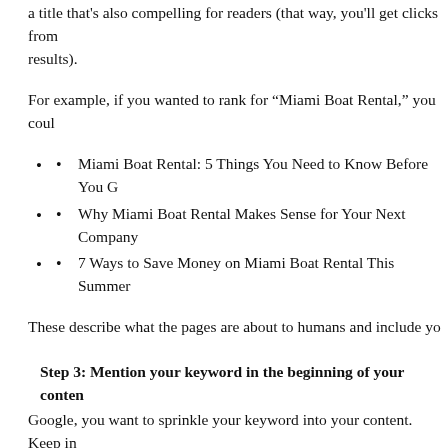a title that's also compelling for readers (that way, you'll get clicks from results).
For example, if you wanted to rank for “Miami Boat Rental,” you coul…
Miami Boat Rental: 5 Things You Need to Know Before You G…
Why Miami Boat Rental Makes Sense for Your Next Company…
7 Ways to Save Money on Miami Boat Rental This Summer
These describe what the pages are about to humans and include yo…
Step 3: Mention your keyword in the beginning of your conten…
Google, you want to sprinkle your keyword into your content. Keep in… can get your site penalized). It simply means you want to mention yo… important of those mentions is at the very top of your page.
Think about it for a second: Let’s say you came across an article on… candidate named John Smith. The journalist behind the piece proba… “presidential,” “John Smith,” and “running.” It makes sense that the m… page. That’s why I recommend mentioning your keyword in the first 1…